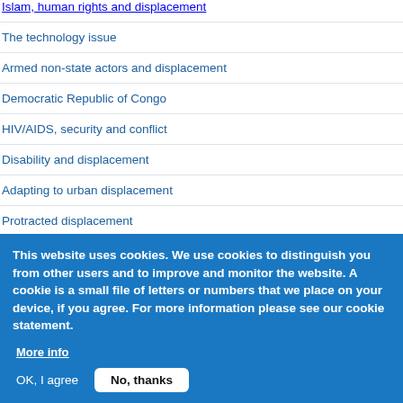Islam, human rights and displacement
The technology issue
Armed non-state actors and displacement
Democratic Republic of Congo
HIV/AIDS, security and conflict
Disability and displacement
Adapting to urban displacement
Protracted displacement
This website uses cookies. We use cookies to distinguish you from other users and to improve and monitor the website. A cookie is a small file of letters or numbers that we place on your device, if you agree. For more information please see our cookie statement.
More info
OK, I agree    No, thanks